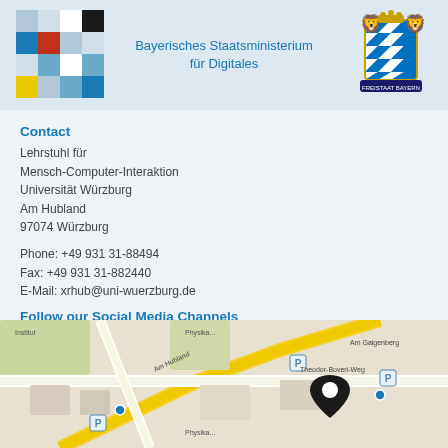[Figure (logo): Colorful pixelated squares logo on the left]
Bayerisches Staatsministerium für Digitales
[Figure (logo): Bavarian state coat of arms on the right]
Contact
Lehrstuhl für Mensch-Computer-Interaktion Universität Würzburg Am Hubland 97074 Würzburg
Phone: +49 931 31-88494
Fax: +49 931 31-882440
E-Mail: xrhub@uni-wuerzburg.de
Follow our Social Media Channels
[Figure (logo): Twitter bird logo with 'twitter' text in blue]
How to Find Us
[Figure (map): Street map showing the location of Universität Würzburg Am Hubland with a location pin marker]